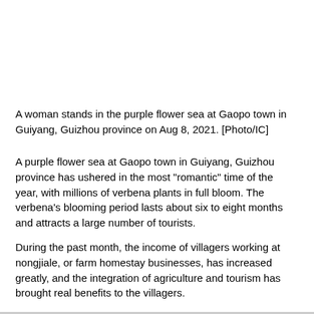A woman stands in the purple flower sea at Gaopo town in Guiyang, Guizhou province on Aug 8, 2021. [Photo/IC]
A purple flower sea at Gaopo town in Guiyang, Guizhou province has ushered in the most "romantic" time of the year, with millions of verbena plants in full bloom. The verbena's blooming period lasts about six to eight months and attracts a large number of tourists.
During the past month, the income of villagers working at nongjiale, or farm homestay businesses, has increased greatly, and the integration of agriculture and tourism has brought real benefits to the villagers.